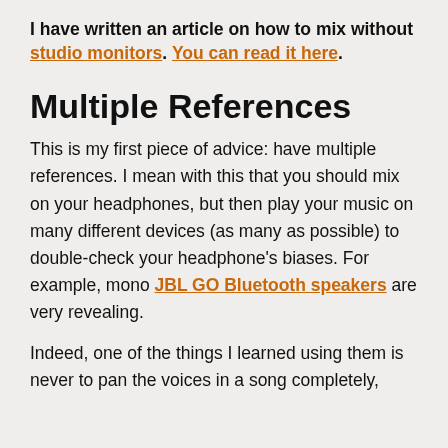I have written an article on how to mix without studio monitors. You can read it here.
Multiple References
This is my first piece of advice: have multiple references. I mean with this that you should mix on your headphones, but then play your music on many different devices (as many as possible) to double-check your headphone's biases. For example, mono JBL GO Bluetooth speakers are very revealing.
Indeed, one of the things I learned using them is never to pan the voices in a song completely,